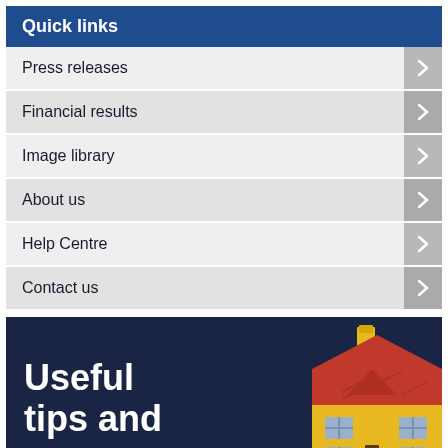Quick links
Press releases
Financial results
Image library
About us
Help Centre
Contact us
[Figure (illustration): Dark navy banner with bold white text reading 'Useful tips and' and a cartoon house illustration with red roof and yellow walls on the right side]